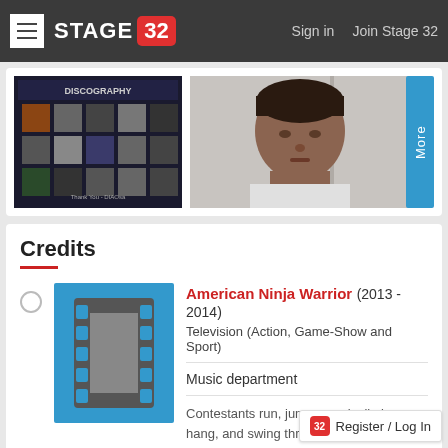STAGE 32 | Sign in  Join Stage 32
[Figure (screenshot): Media gallery strip showing a discography image collage and a photo of a man's face]
Credits
[Figure (illustration): Blue film reel thumbnail placeholder icon]
American Ninja Warrior (2013 - 2014) Television (Action, Game-Show and Sport)
Music department
Contestants run, jump, crawl, climb, hang, and swing through crazy obstacles as they...
Register / Log In